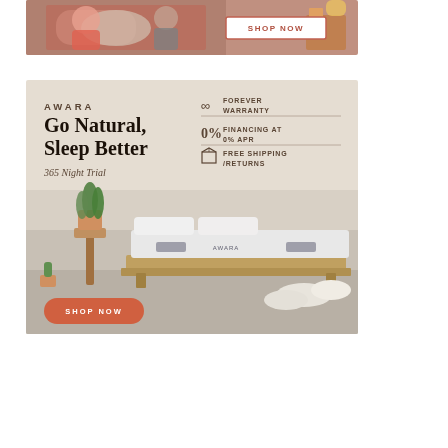[Figure (photo): Advertisement banner showing people on a mattress with a SHOP NOW button]
[Figure (infographic): AWARA mattress advertisement. Headline: Go Natural, Sleep Better. 365 Night Trial. Features: Forever Warranty, Financing at 0% APR, Free Shipping/Returns. Photo of mattress with plant and pillows. SHOP NOW button.]